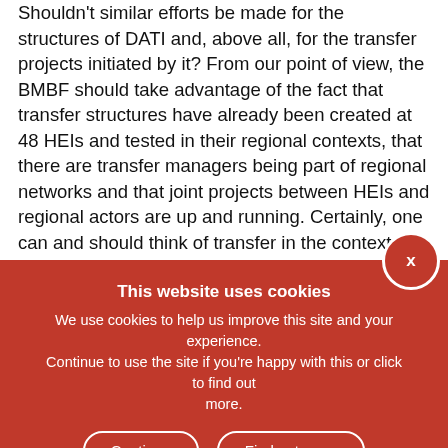Shouldn't similar efforts be made for the structures of DATI and, above all, for the transfer projects initiated by it? From our point of view, the BMBF should take advantage of the fact that transfer structures have already been created at 48 HEIs and tested in their regional contexts, that there are transfer managers being part of regional networks and that joint projects between HEIs and regional actors are up and running. Certainly, one can and should think of transfer in the context of DATI more broadly than in IHS. For example, start-up funding IS not covered in IHS because of the distinction from other German funding programmes. The same applies to the joint projects, subsiding and value there to be discussed, also mentioned in the new federal coalition agreement. In addition, the focus of DATI can also be more strongly directed towards joint sponsorship of
This website uses cookies
We use cookies to help us improve this site and your experience. Continue to use the site if you're happy with this or click to find out more.
Continue | Find out more